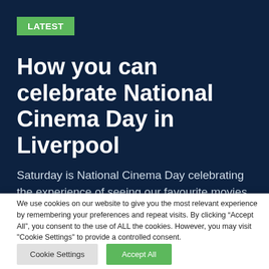[Figure (photo): Top image bar showing partial cinema/movie related photo with red and blue tones]
LATEST
How you can celebrate National Cinema Day in Liverpool
Saturday is National Cinema Day celebrating the experience of seeing our favourite movies on the big
We use cookies on our website to give you the most relevant experience by remembering your preferences and repeat visits. By clicking “Accept All”, you consent to the use of ALL the cookies. However, you may visit "Cookie Settings" to provide a controlled consent.